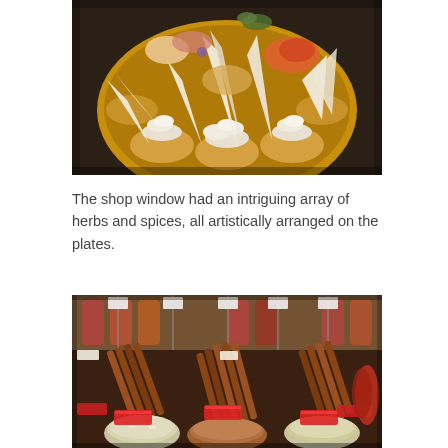[Figure (photo): A round wooden board with multiple bread rolls or buns topped with white creamy spread and wrapped in paper cones, arranged in a circular pattern. Various colorful toppings visible in background.]
The shop window had an intriguing array of herbs and spices, all artistically arranged on the plates.
[Figure (photo): A shop window display of herbs and spices with cinnamon sticks, seeds, and other spices arranged in bowls and trays with price tags visible.]